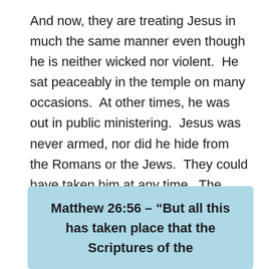And now, they are treating Jesus in much the same manner even though he is neither wicked nor violent.  He sat peaceably in the temple on many occasions.  At other times, he was out in public ministering.  Jesus was never armed, nor did he hide from the Romans or the Jews.  They could have taken him at any time.  The large armed force sent to ‘capture’ him was an unnecessary insult.
Matthew 26:56 – “But all this has taken place that the Scriptures of the